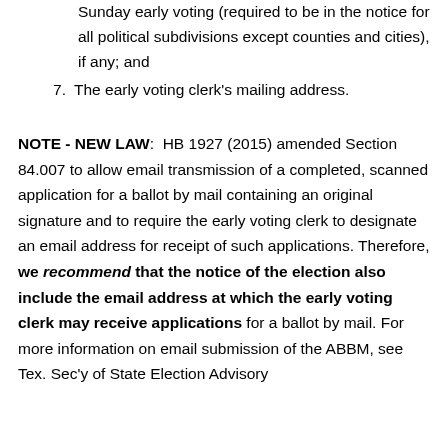Sunday early voting (required to be in the notice for all political subdivisions except counties and cities), if any; and
7. The early voting clerk's mailing address.
NOTE - NEW LAW: HB 1927 (2015) amended Section 84.007 to allow email transmission of a completed, scanned application for a ballot by mail containing an original signature and to require the early voting clerk to designate an email address for receipt of such applications. Therefore, we recommend that the notice of the election also include the email address at which the early voting clerk may receive applications for a ballot by mail. For more information on email submission of the ABBM, see Tex. Sec'y of State Election Advisory